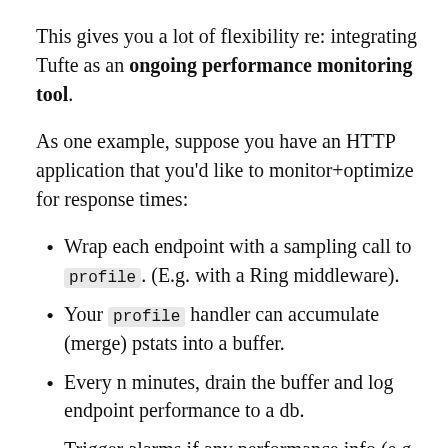This gives you a lot of flexibility re: integrating Tufte as an ongoing performance monitoring tool.
As one example, suppose you have an HTTP application that you'd like to monitor+optimize for response times:
Wrap each endpoint with a sampling call to profile. (E.g. with a Ring middleware).
Your profile handler can accumulate (merge) pstats into a buffer.
Every n minutes, drain the buffer and log endpoint performance to a db.
Trigger alarms if any performance info (e.g. 95th percentile response times) are out of spec. The accumulated pstats info will also be helpful in quickly diagnosing...